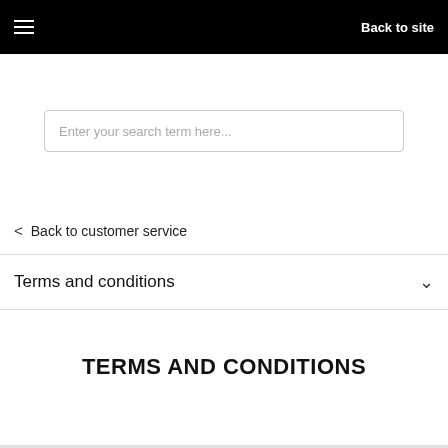≡  Back to site
Enter your search term here...
< Back to customer service
Terms and conditions
TERMS AND CONDITIONS